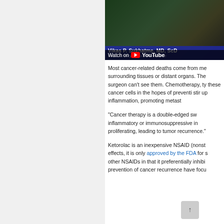[Figure (screenshot): YouTube video thumbnail showing Vikas P. Sukhatme, MD, ScD, Dean, Emory School of Medicine, with 'Watch on YouTube' overlay]
Most cancer-related deaths come from me surrounding tissues or distant organs. The surgeon can't see them. Chemotherapy, ty these cancer cells in the hopes of preventi stir up inflammation, promoting metast
“Cancer therapy is a double-edged sw inflammatory or immunosuppressive in proliferating, leading to tumor recurrence.”
Ketorolac is an inexpensive NSAID (nonst effects, it is only approved by the FDA for s other NSAIDs in that it preferentially inhibi prevention of cancer recurrence have focu